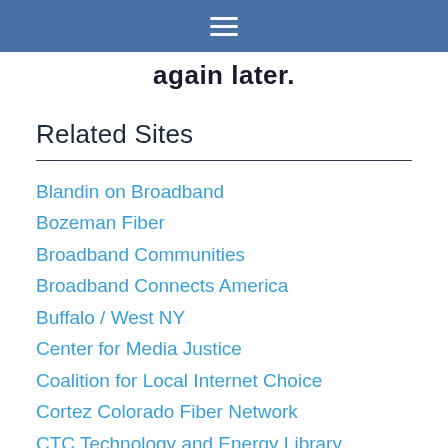≡
again later.
Related Sites
Blandin on Broadband
Bozeman Fiber
Broadband Communities
Broadband Connects America
Buffalo / West NY
Center for Media Justice
Coalition for Local Internet Choice
Cortez Colorado Fiber Network
CTC Technology and Energy Library
Design Nine Blog